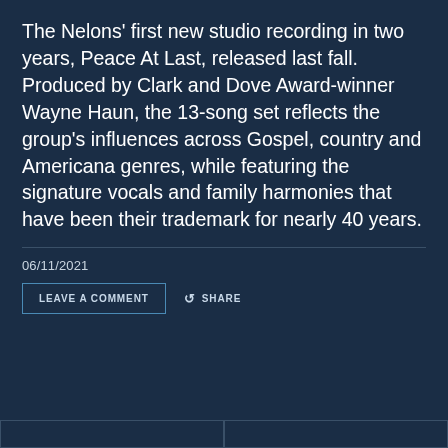The Nelons' first new studio recording in two years, Peace At Last, released last fall. Produced by Clark and Dove Award-winner Wayne Haun, the 13-song set reflects the group's influences across Gospel, country and Americana genres, while featuring the signature vocals and family harmonies that have been their trademark for nearly 40 years.
06/11/2021
LEAVE A COMMENT
SHARE